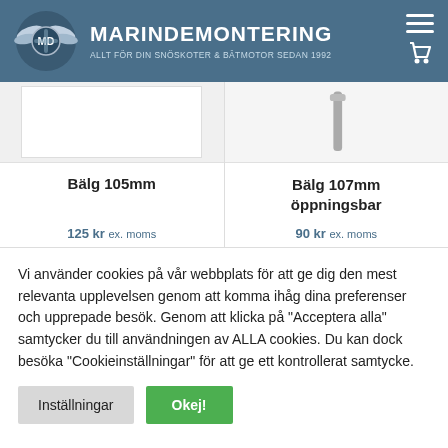MARINDEMONTERING — ALLT FÖR DIN SNÖSKOTER & BÂTMOTOR SEDAN 1992
Bälg 105mm
Bälg 107mm öppningsbar
Vi använder cookies på vår webbplats för att ge dig den mest relevanta upplevelsen genom att komma ihåg dina preferenser och upprepade besök. Genom att klicka på "Acceptera alla" samtycker du till användningen av ALLA cookies. Du kan dock besöka "Cookieinställningar" för att ge ett kontrollerat samtycke.
Inställningar
Okej!